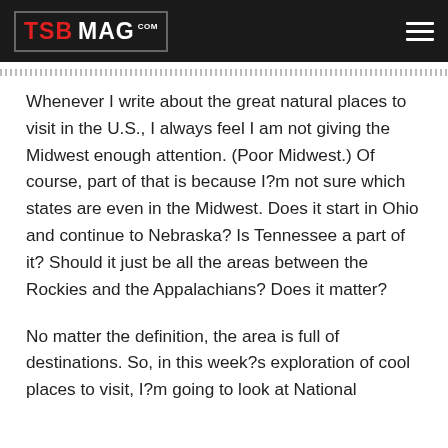TSB MAG .com
Whenever I write about the great natural places to visit in the U.S., I always feel I am not giving the Midwest enough attention. (Poor Midwest.) Of course, part of that is because I?m not sure which states are even in the Midwest. Does it start in Ohio and continue to Nebraska? Is Tennessee a part of it? Should it just be all the areas between the Rockies and the Appalachians? Does it matter?
No matter the definition, the area is full of destinations. So, in this week?s exploration of cool places to visit, I?m going to look at National